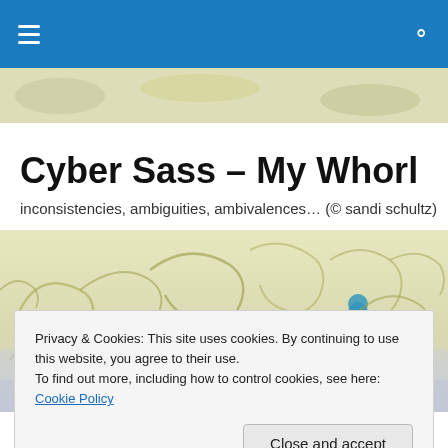Navigation bar with hamburger menu and search icon
[Figure (photo): Decorative banner strip with light green/yellow tones]
Cyber Sass – My Whorl
inconsistencies, ambiguities, ambivalences… (© sandi schultz)
[Figure (illustration): Hero banner image showing decorative floral swirl patterns in yellow-green on a light background, with a figure in blue on the right side]
Privacy & Cookies: This site uses cookies. By continuing to use this website, you agree to their use.
To find out more, including how to control cookies, see here: Cookie Policy
abandon